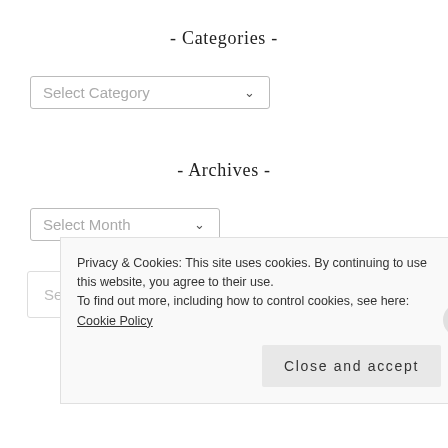- Categories -
[Figure (screenshot): Dropdown selector labeled 'Select Category' with a chevron arrow]
- Archives -
[Figure (screenshot): Dropdown selector labeled 'Select Month' with a chevron arrow]
[Figure (screenshot): Search input box with placeholder text 'Search ...']
Privacy & Cookies: This site uses cookies. By continuing to use this website, you agree to their use.
To find out more, including how to control cookies, see here: Cookie Policy
Close and accept